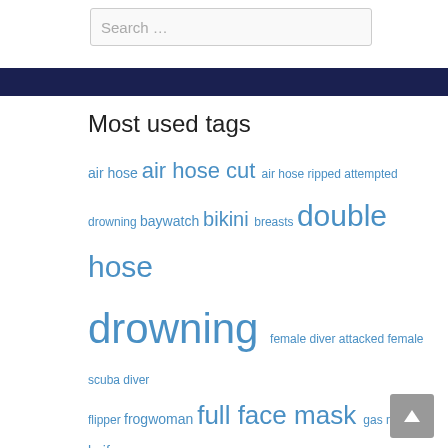Search …
Most used tags
air hose air hose cut air hose ripped attempted drowning baywatch bikini breasts double hose drowning female diver attacked female scuba diver flipper frogwoman full face mask gas mask knife latex mouth piece mouthpiece net out of air oxygen mask Project F regulator rubber rubber suit rubber wetsuit scuba combat scuba fetish